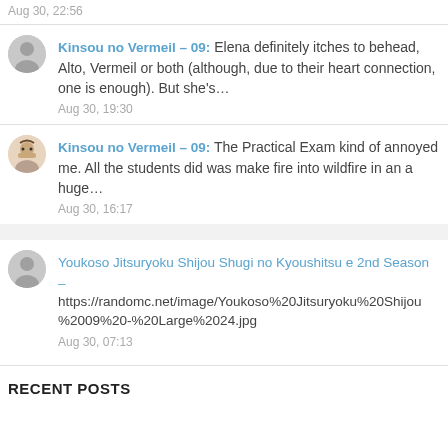Aug 30, 22:56
Kinsou no Vermeil – 09: Elena definitely itches to behead, Alto, Vermeil or both (although, due to their heart connection, one is enough). But she's…
Aug 30, 19:30
Kinsou no Vermeil – 09: The Practical Exam kind of annoyed me. All the students did was make fire into wildfire in an a huge…
Aug 30, 16:17
Youkoso Jitsuryoku Shijou Shugi no Kyoushitsu e 2nd Season –
https://randomc.net/image/Youkoso%20Jitsuryoku%20Shijou%2009%20-%20Large%2024.jpg
Aug 30, 07:13
RECENT POSTS